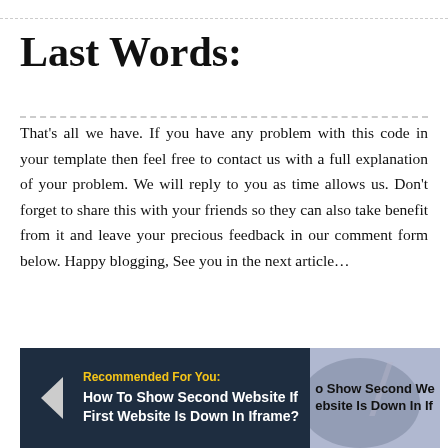Last Words:
That's all we have. If you have any problem with this code in your template then feel free to contact us with a full explanation of your problem. We will reply to you as time allows us. Don't forget to share this with your friends so they can also take benefit from it and leave your precious feedback in our comment form below. Happy blogging, See you in the next article…
[Figure (infographic): Dark navy blue banner with left arrow, yellow 'Recommended For You:' label, white bold text 'How To Show Second Website If First Website Is Down In Iframe?' and a partially visible image on the right side showing the same title text over a grey ellipse background with a slash graphic.]